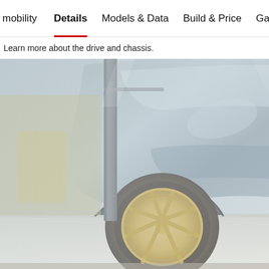mobility   Details   Models & Data   Build & Price   Ga
Learn more about the drive and chassis.
[Figure (photo): Close-up photo of a silver/grey car's wheel arch and alloy wheel, viewed through a glass window with reflections. The car is partially visible showing the front fender and wheel with a multi-spoke alloy rim. The background shows a blurred grey wall.]